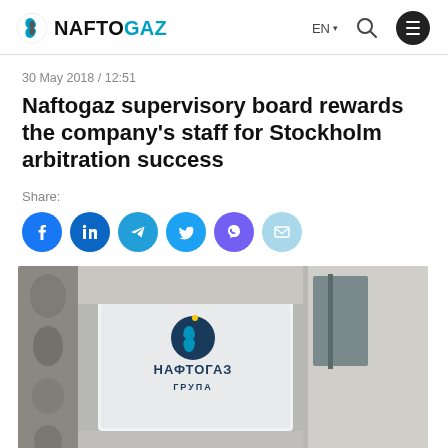NAFTOGAZ | EN
30 May 2018 / 12:51
Naftogaz supervisory board rewards the company's staff for Stockholm arbitration success
Share:
[Figure (screenshot): Naftogaz building sign reading НАФТОГАЗ ГРУПА with the Naftogaz logo]